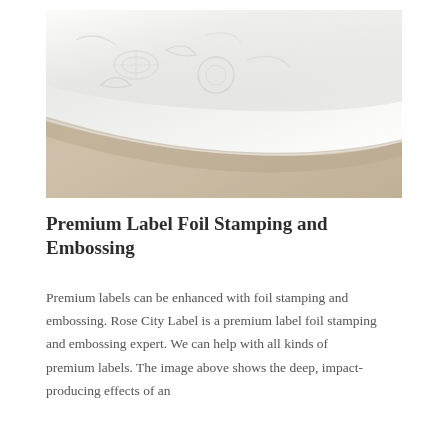[Figure (photo): Close-up photograph of embossed white label material partially rolled or folded, showing deep raised texture patterns on a glossy white surface against a tan/kraft paper background.]
Premium Label Foil Stamping and Embossing
Premium labels can be enhanced with foil stamping and embossing. Rose City Label is a premium label foil stamping and embossing expert. We can help with all kinds of premium labels. The image above shows the deep, impact-producing effects of an embossed label in the depths of the label texture.